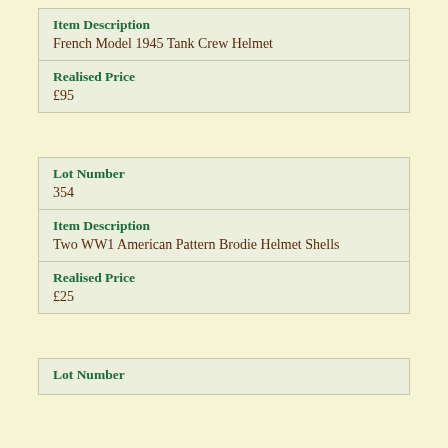| Field | Value |
| --- | --- |
| Item Description | French Model 1945 Tank Crew Helmet |
| Realised Price | £95 |
| Field | Value |
| --- | --- |
| Lot Number | 354 |
| Item Description | Two WW1 American Pattern Brodie Helmet Shells |
| Realised Price | £25 |
| Field | Value |
| --- | --- |
| Lot Number |  |